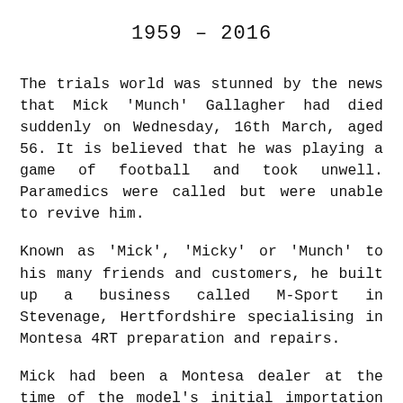1959 – 2016
The trials world was stunned by the news that Mick 'Munch' Gallagher had died suddenly on Wednesday, 16th March, aged 56. It is believed that he was playing a game of football and took unwell. Paramedics were called but were unable to revive him.
Known as 'Mick', 'Micky' or 'Munch' to his many friends and customers, he built up a business called M-Sport in Stevenage, Hertfordshire specialising in Montesa 4RT preparation and repairs.
Mick had been a Montesa dealer at the time of the model's initial importation to the UK in 2005 and had carefully researched how these advanced and technical machines were built and rapidly amassed a great deal of